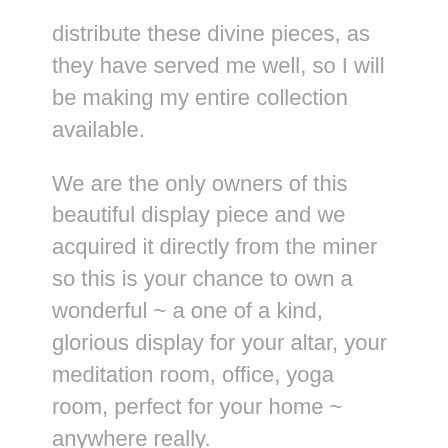distribute these divine pieces, as they have served me well, so I will be making my entire collection available.
We are the only owners of this beautiful display piece and we acquired it directly from the miner so this is your chance to own a wonderful ~ a one of a kind, glorious display for your altar, your meditation room, office, yoga room, perfect for your home ~ anywhere really.
I recently retired from figure skating as a United States National Champion, as my new calling is to distribute my crystals and minerals all over the world.
I will be listing many more crystals and